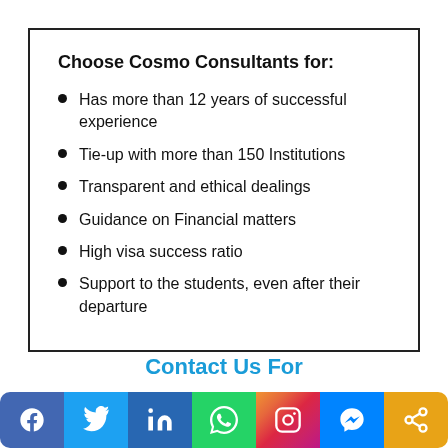Choose Cosmo Consultants for:
Has more than 12 years of successful experience
Tie-up with more than 150 Institutions
Transparent and ethical dealings
Guidance on Financial matters
High visa success ratio
Support to the students, even after their departure
Contact Us For
[Figure (infographic): Social media share buttons bar: Facebook, Twitter, LinkedIn, WhatsApp, Instagram, Messenger, Share]